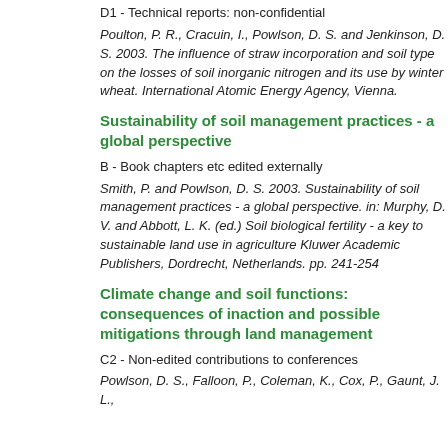D1 - Technical reports: non-confidential
Poulton, P. R., Cracuin, I., Powlson, D. S. and Jenkinson, D. S. 2003. The influence of straw incorporation and soil type on the losses of soil inorganic nitrogen and its use by winter wheat. International Atomic Energy Agency, Vienna.
Sustainability of soil management practices - a global perspective
B - Book chapters etc edited externally
Smith, P. and Powlson, D. S. 2003. Sustainability of soil management practices - a global perspective. in: Murphy, D. V. and Abbott, L. K. (ed.) Soil biological fertility - a key to sustainable land use in agriculture Kluwer Academic Publishers, Dordrecht, Netherlands. pp. 241-254
Climate change and soil functions: consequences of inaction and possible mitigations through land management
C2 - Non-edited contributions to conferences
Powlson, D. S., Falloon, P., Coleman, K., Cox, P., Gaunt, J. L.,